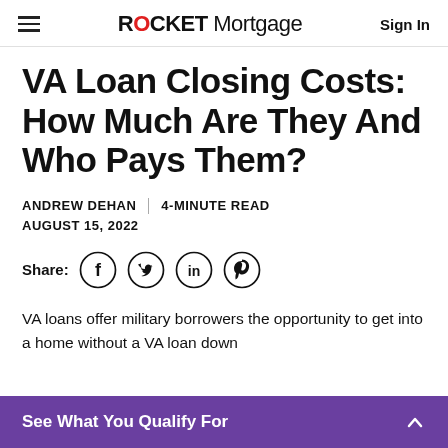ROCKET Mortgage  Sign In
VA Loan Closing Costs: How Much Are They And Who Pays Them?
ANDREW DEHAN | 4-MINUTE READ
AUGUST 15, 2022
Share:
VA loans offer military borrowers the opportunity to get into a home without a VA loan down
See What You Qualify For